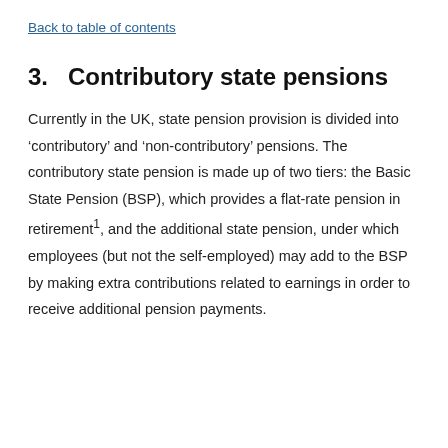Back to table of contents
3.   Contributory state pensions
Currently in the UK, state pension provision is divided into ‘contributory’ and ‘non-contributory’ pensions. The contributory state pension is made up of two tiers: the Basic State Pension (BSP), which provides a flat-rate pension in retirement¹, and the additional state pension, under which employees (but not the self-employed) may add to the BSP by making extra contributions related to earnings in order to receive additional pension payments.